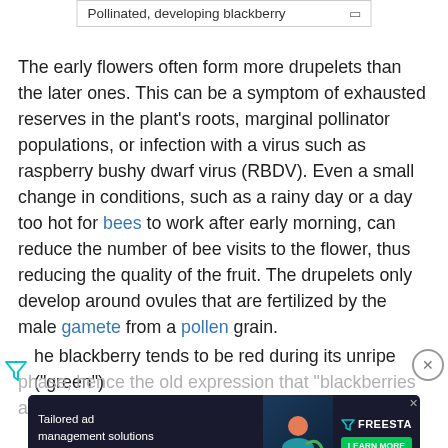Pollinated, developing blackberry
The early flowers often form more drupelets than the later ones. This can be a symptom of exhausted reserves in the plant's roots, marginal pollinator populations, or infection with a virus such as raspberry bushy dwarf virus (RBDV). Even a small change in conditions, such as a rainy day or a day too hot for bees to work after early morning, can reduce the number of bee visits to the flower, thus reducing the quality of the fruit. The drupelets only develop around ovules that are fertilized by the male gamete from a pollen grain.
The blackberry tends to be red during its unripe ("green") phase, hence the old expression that "blackberries are red when they
[Figure (other): Advertisement banner: Tailored ad management solutions for every publisher, Freestar logo, LEARN MORE button]
Unmanaged mature plants form a tangle of dense arching stems, the branches rooting from the node tip where they